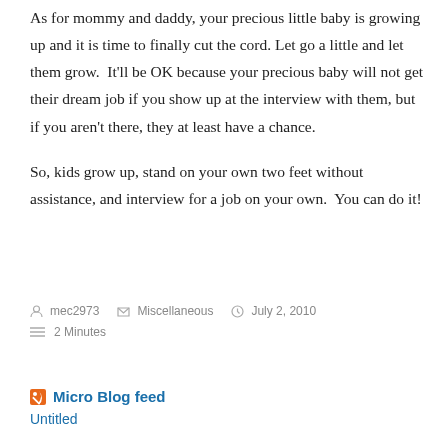As for mommy and daddy, your precious little baby is growing up and it is time to finally cut the cord. Let go a little and let them grow.  It'll be OK because your precious baby will not get their dream job if you show up at the interview with them, but if you aren't there, they at least have a chance.
So, kids grow up, stand on your own two feet without assistance, and interview for a job on your own.  You can do it!
mec2973  Miscellaneous  July 2, 2010  2 Minutes
RSS Micro Blog feed
Untitled